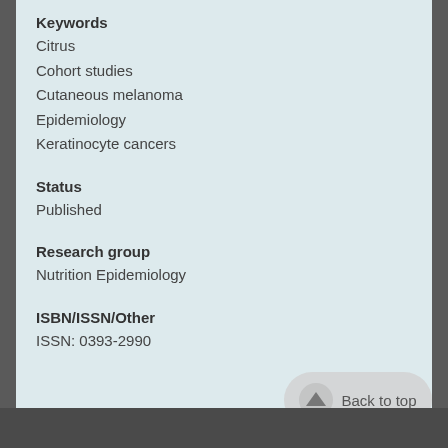Keywords
Citrus
Cohort studies
Cutaneous melanoma
Epidemiology
Keratinocyte cancers
Status
Published
Research group
Nutrition Epidemiology
ISBN/ISSN/Other
ISSN: 0393-2990